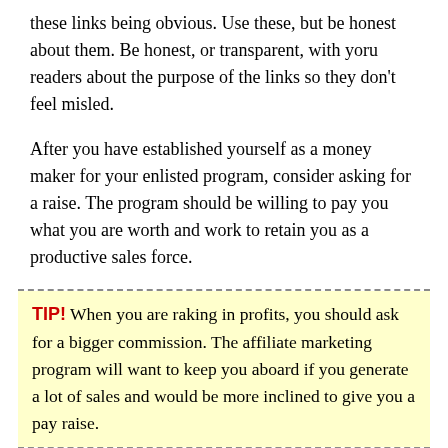these links being obvious. Use these, but be honest about them. Be honest, or transparent, with yoru readers about the purpose of the links so they don't feel misled.
After you have established yourself as a money maker for your enlisted program, consider asking for a raise. The program should be willing to pay you what you are worth and work to retain you as a productive sales force.
TIP! When you are raking in profits, you should ask for a bigger commission. The affiliate marketing program will want to keep you aboard if you generate a lot of sales and would be more inclined to give you a pay raise.
Only choose affiliates that are reputable and are fair. Companies should offer you a profit of at least 20% for every sale. Affiliate companies that are good to do business with know that hard work deserves better